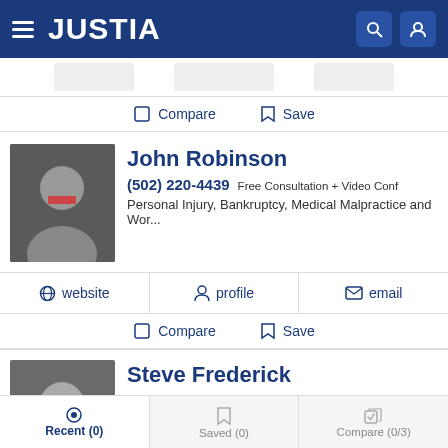JUSTIA
Compare  Save
John Robinson
(502) 220-4439 Free Consultation + Video Conf
Personal Injury, Bankruptcy, Medical Malpractice and Wor...
website  profile  email
Compare  Save
Steve Frederick
(877) 595-8784 Free Consultation
Personal Injury, Medical Malpractice and Nursing Home
Recent (0)  Saved (0)  Compare (0/3)